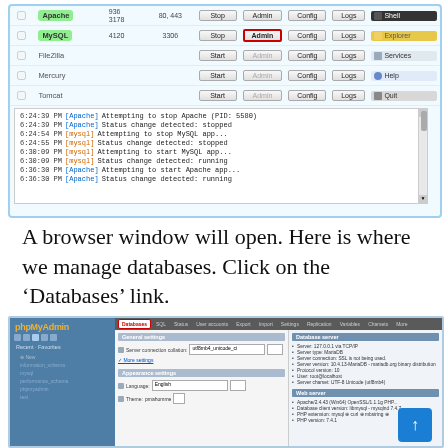[Figure (screenshot): XAMPP control panel showing Apache (running) and MySQL (running) services with Stop buttons, along with FileZilla, Mercury, Tomcat (stopped), and a log area showing start/stop events for Apache and MySQL.]
A browser window will open. Here is where we manage databases. Click on the 'Databases' link.
[Figure (screenshot): phpMyAdmin interface showing the Databases tab selected in the top navigation, General settings panel, Appearance settings, Database server info panel on the right, and Web server info panel below.]